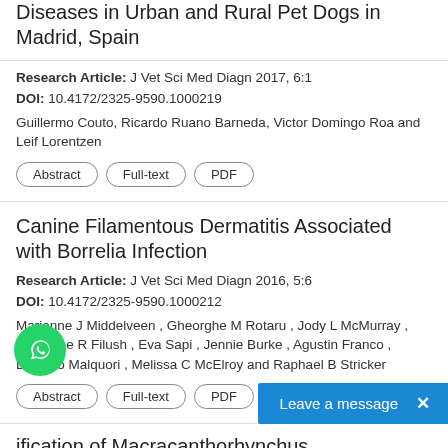Diseases in Urban and Rural Pet Dogs in Madrid, Spain
Research Article: J Vet Sci Med Diagn 2017, 6:1
DOI: 10.4172/2325-9590.1000219
Guillermo Couto, Ricardo Ruano Barneda, Victor Domingo Roa and Leif Lorentzen
Abstract | Full-text | PDF
Canine Filamentous Dermatitis Associated with Borrelia Infection
Research Article: J Vet Sci Med Diagn 2016, 5:6
DOI: 10.4172/2325-9590.1000212
Marianne J Middelveen , Gheorghe M Rotaru , Jody L McMurray , Katherine R Filush , Eva Sapi , Jennie Burke , Agustin Franco , Lorenzo Malquori , Melissa C McElroy and Raphael B Stricker
Abstract | Full-text | PDF
ification of Macracanthorhynchus hirudinaceus, Stephanurus